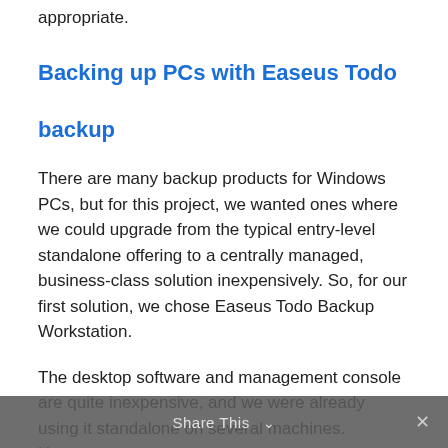appropriate.
Backing up PCs with Easeus Todo backup
There are many backup products for Windows PCs, but for this project, we wanted ones where we could upgrade from the typical entry-level standalone offering to a centrally managed, business-class solution inexpensively. So, for our first solution, we chose Easeus Todo Backup Workstation.
The desktop software and management console are quite inexpensive, and we were already using it standalone on several machines. However,
Share This ∨  ×